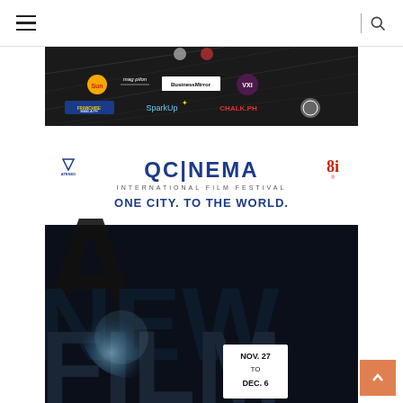Navigation bar with hamburger menu and search icon
[Figure (photo): Dark banner with sponsor logos including BusinessMirror, VXI, SparkUp, CHALK.PH, Franchise Manila, and others on a dark background with diagonal light streaks]
[Figure (photo): QCinema International Film Festival promotional poster. Text reads: QCINEMA INTERNATIONAL FILM FESTIVAL. ONE CITY. TO THE WORLD. A NEW FILM ERA. Dates: NOV. 27 TO DEC. 6. Shows large bold letters 'A NEW FILM' over a dramatic dark space/planet background. Logos of ADMU and 8i visible.]